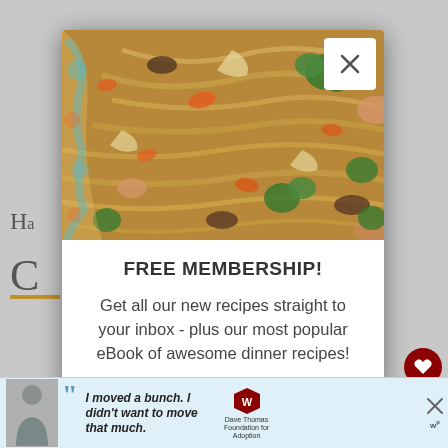[Figure (photo): Close-up photo of a stir-fry dish with noodles, chicken, broccoli, carrots, mushrooms, and cabbage in a decorative bowl, shown in the upper portion of a modal popup overlay]
FREE MEMBERSHIP!
Get all our new recipes straight to your inbox - plus our most popular eBook of awesome dinner recipes!
[Figure (screenshot): Advertisement banner at the bottom of the screen: Dave Thomas Foundation for Adoption ad with a young man and quote 'I moved a bunch. I didn't want to move that much.']